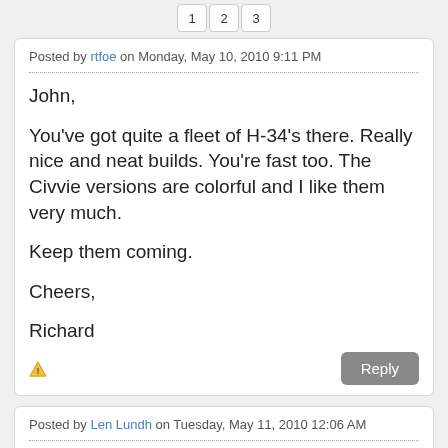1 2 3
Posted by rtfoe on Monday, May 10, 2010 9:11 PM
John,

You've got quite a fleet of H-34's there. Really nice and neat builds. You're fast too. The Civvie versions are colorful and I like them very much.

Keep them coming.

Cheers,

Richard
Posted by Len Lundh on Tuesday, May 11, 2010 12:06 AM